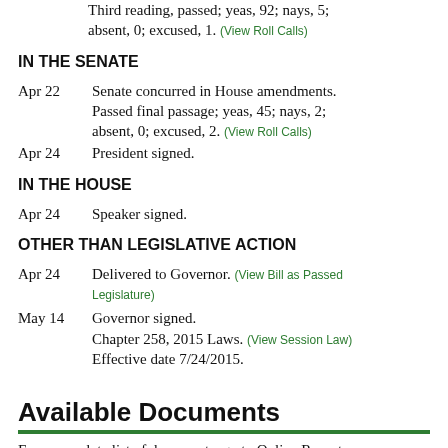Third reading, passed; yeas, 92; nays, 5; absent, 0; excused, 1. (View Roll Calls)
IN THE SENATE
Apr 22  Senate concurred in House amendments. Passed final passage; yeas, 45; nays, 2; absent, 0; excused, 2. (View Roll Calls)
Apr 24  President signed.
IN THE HOUSE
Apr 24  Speaker signed.
OTHER THAN LEGISLATIVE ACTION
Apr 24  Delivered to Governor. (View Bill as Passed Legislature)
May 14  Governor signed. Chapter 258, 2015 Laws. (View Session Law) Effective date 7/24/2015.
Available Documents
For a complete list of documents, go to Online Reports